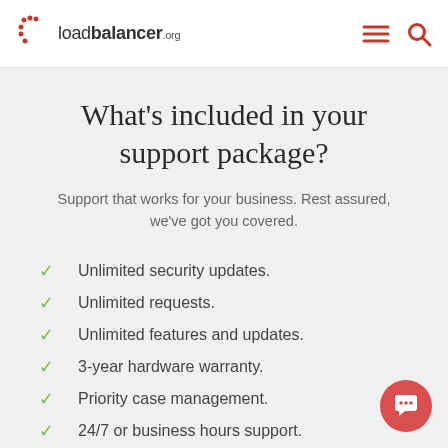loadbalancer.org
What's included in your support package?
Support that works for your business. Rest assured, we've got you covered.
Unlimited security updates.
Unlimited requests.
Unlimited features and updates.
3-year hardware warranty.
Priority case management.
24/7 or business hours support.